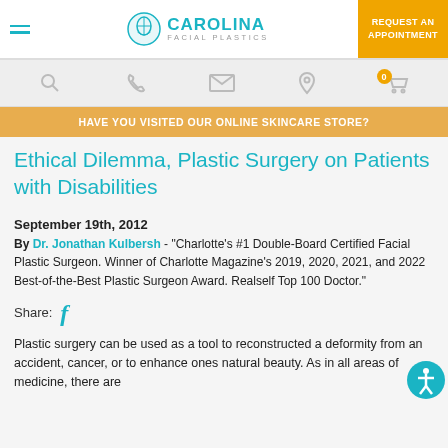Carolina Facial Plastics — REQUEST AN APPOINTMENT
[Figure (logo): Carolina Facial Plastics logo with teal icon and text]
HAVE YOU VISITED OUR ONLINE SKINCARE STORE?
Ethical Dilemma, Plastic Surgery on Patients with Disabilities
September 19th, 2012
By Dr. Jonathan Kulbersh - "Charlotte's #1 Double-Board Certified Facial Plastic Surgeon. Winner of Charlotte Magazine's 2019, 2020, 2021, and 2022 Best-of-the-Best Plastic Surgeon Award. Realself Top 100 Doctor."
Share:
Plastic surgery can be used as a tool to reconstructed a deformity from an accident, cancer, or to enhance ones natural beauty.  As in all areas of medicine, there are